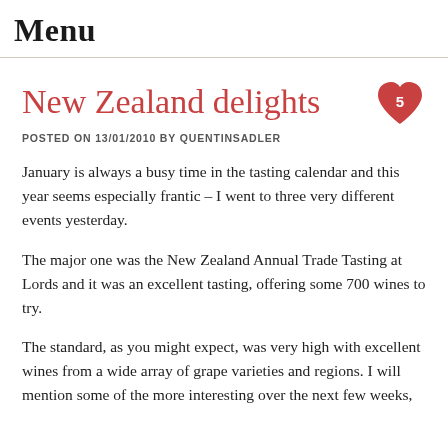Menu
New Zealand delights
POSTED ON 13/01/2010 BY QUENTINSADLER
January is always a busy time in the tasting calendar and this year seems especially frantic – I went to three very different events yesterday.
The major one was the New Zealand Annual Trade Tasting at Lords and it was an excellent tasting, offering some 700 wines to try.
The standard, as you might expect, was very high with excellent wines from a wide array of grape varieties and regions. I will mention some of the more interesting over the next few weeks,